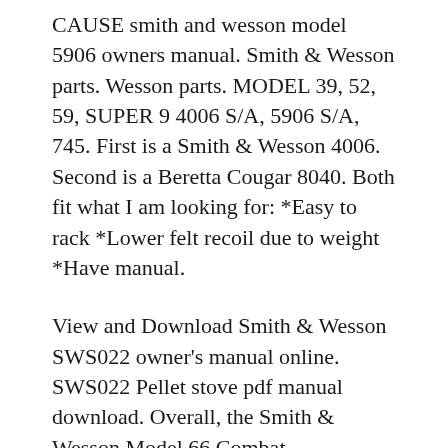CAUSE smith and wesson model 5906 owners manual. Smith & Wesson parts. Wesson parts. MODEL 39, 52, 59, SUPER 9 4006 S/A, 5906 S/A, 745. First is a Smith & Wesson 4006. Second is a Beretta Cougar 8040. Both fit what I am looking for: *Easy to rack *Lower felt recoil due to weight *Have manual.
View and Download Smith & Wesson SWS022 owner's manual online. SWS022 Pellet stove pdf manual download. Overall, the Smith & Wesson Model 66 Combat MagnumB® .357 Magnum is very close in size to a Smith & Wesson Model 686. Most people should appreciate the leaner K-frame of the Model 66 versus the beefier L-frame of the Model 686 if you are contemplating purchasing a shorter barrel length like a 5[...]